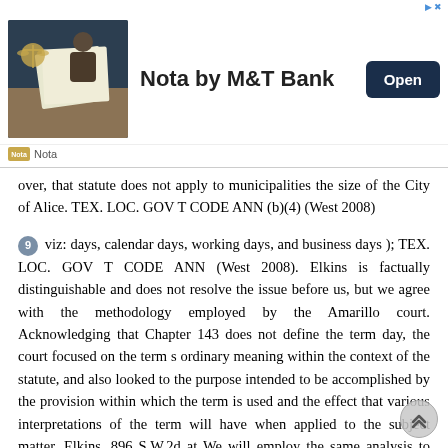[Figure (other): Advertisement banner for 'Nota by M&T Bank' with a photo of legal scales/documents, a dark 'Open' button, and 'Nota' logo footer]
over, that statute does not apply to municipalities the size of the City of Alice. TEX. LOC. GOV T CODE ANN (b)(4) (West 2008)
9 viz: days, calendar days, working days, and business days ); TEX. LOC. GOV T CODE ANN (West 2008). Elkins is factually distinguishable and does not resolve the issue before us, but we agree with the methodology employed by the Amarillo court. Acknowledging that Chapter 143 does not define the term day, the court focused on the term s ordinary meaning within the context of the statute, and also looked to the purpose intended to be accomplished by the provision within which the term is used and the effect that various interpretations of the term will have when applied to the subject matter. Elkins, 896 S.W.2d at We will employ the same analysis to construe the undefined term working day. 1. Ordinary Meaning Within Context of Statute. We begin by